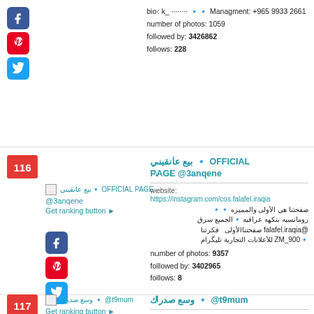bio: k_ ········ 🔹🔹 Managment: +965 9933 2661
number of photos: 1059
followed by: 3426862
follows: 228
[Figure (logo): Facebook, Pinterest, Twitter social media icons (top section)]
116
بيع عانقيني 🔹 OFFICIAL PAGE @3anqene — Get ranking button
بيع عانقيني 🔹 OFFICIAL PAGE @3anqene — website: https://instagram.com/cos.falafel.iraqia — bio: صفحتنا هي الأولى والمميزه🔹🔹 رومانسيه بنكهه عراقيه 🔹الجميع سرق @falafel.iraqia صفحتناالأولى فكرتنا 🔹ZM_900 للأعلانات التجارية تليگرام — number of photos: 9357 — followed by: 3402965 — follows: 8
[Figure (logo): Facebook, Pinterest, Twitter social media icons (entry 116)]
117
وسع صدرك 🔹 @t9mum — Get ranking button
وسع صدرك 🔹 @t9mum — website: https://apple.co/2wdVl3Y